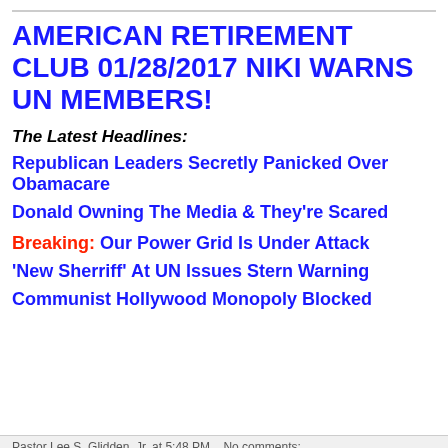AMERICAN RETIREMENT CLUB 01/28/2017 NIKI WARNS UN MEMBERS!
The Latest Headlines:
Republican Leaders Secretly Panicked Over Obamacare
Donald Owning The Media & They're Scared
Breaking: Our Power Grid Is Under Attack
'New Sherriff' At UN Issues Stern Warning
Communist Hollywood Monopoly Blocked
Pastor Lee S. Glidden, Jr. at 5:48 PM   No comments: